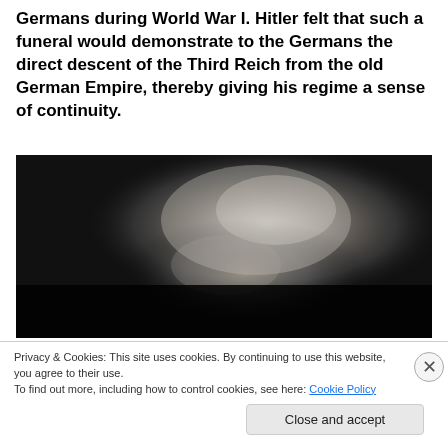Germans during World War I. Hitler felt that such a funeral would demonstrate to the Germans the direct descent of the Third Reich from the old German Empire, thereby giving his regime a sense of continuity.
[Figure (photo): Black and white photograph of an elderly person, low-key lighting with dramatic shadows, head bowed or in profile, monochrome tones.]
Privacy & Cookies: This site uses cookies. By continuing to use this website, you agree to their use. To find out more, including how to control cookies, see here: Cookie Policy
Close and accept